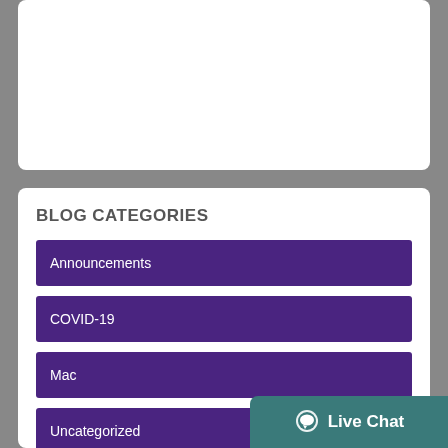BLOG CATEGORIES
Announcements
COVID-19
Mac
Uncategorized
Windows
Live Chat